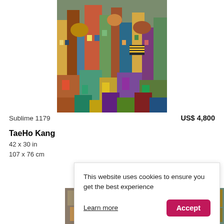[Figure (illustration): Colorful densely-packed cityscape painting with many buildings, rooftops, domes, and urban elements in vivid colors]
Sublime 1179
US$ 4,800
TaeHo Kang
42 x 30 in
107 x 76 cm
[Figure (photo): Thumbnail strip of artwork photos at the bottom of the page]
This website uses cookies to ensure you get the best experience Learn more